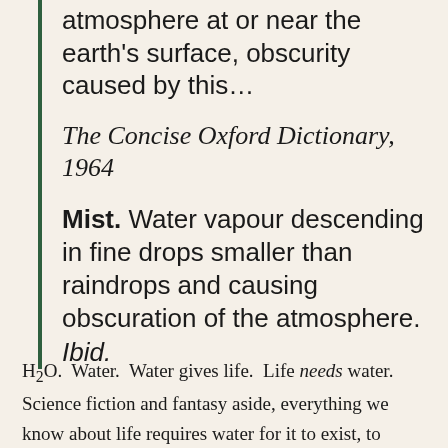atmosphere at or near the earth's surface, obscurity caused by this…
The Concise Oxford Dictionary, 1964
Mist. Water vapour descending in fine drops smaller than raindrops and causing obscuration of the atmosphere. Ibid.
H₂O. Water. Water gives life. Life needs water. Science fiction and fantasy aside, everything we know about life requires water for it to exist, to